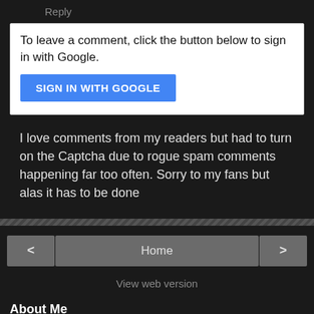Reply
To leave a comment, click the button below to sign in with Google.
SIGN IN WITH GOOGLE
I love comments from my readers but had to turn on the Captcha due to rogue spam comments happening far too often. Sorry to my fans but alas it has to be done
< Home >
View web version
About Me
Butterfly In The Attic
I am a true romantic; I love old Victorian and dream in